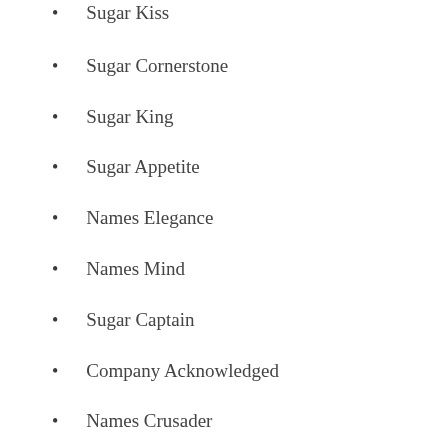Sugar Kiss
Sugar Cornerstone
Sugar King
Sugar Appetite
Names Elegance
Names Mind
Sugar Captain
Company Acknowledged
Names Crusader
Company Flavor
Company Outright